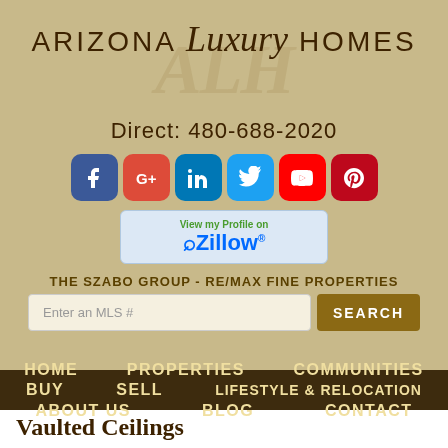ARIZONA Luxury HOMES
Direct: 480-688-2020
[Figure (infographic): Row of six social media icons: Facebook (blue), Google+ (red), LinkedIn (blue), Twitter (light blue), YouTube (red), Pinterest (dark red)]
[Figure (logo): Zillow 'View my Profile on Zillow' button with blue background and Zillow logo]
THE SZABO GROUP - RE/MAX FINE PROPERTIES
Enter an MLS #  SEARCH
HOME   PROPERTIES   COMMUNITIES
BUY   SELL   LIFESTYLE & RELOCATION
ABOUT US   BLOG   CONTACT
Vaulted Ceilings